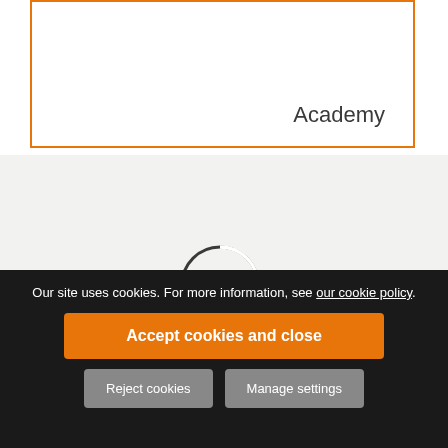| Academy |
[Figure (other): Loading spinner circle icon in gray]
Let's work together
Do you have an exciting new project you're itching
Our site uses cookies. For more information, see our cookie policy.
Accept cookies and close
Reject cookies
Manage settings